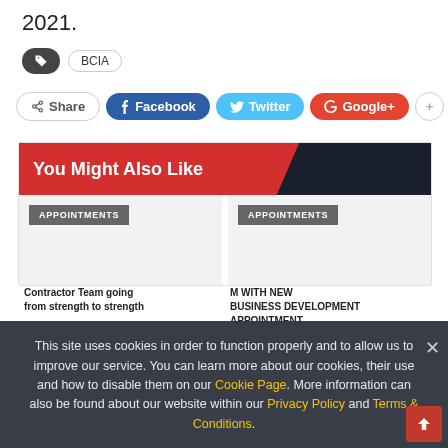2021.
BCIA
Share  Facebook  Twitter  Google+  +
[Figure (screenshot): You Might Also Like section with two APPOINTMENTS tiles]
This site uses cookies in order to function properly and to allow us to improve our service. You can learn more about our cookies, their use and how to disable them on our Cookie Page. More information can also be found about our website within our Privacy Policy and Terms & Conditions.
Contractor Team going from strength to strength
M WITH NEW BUSINESS DEVELOPMENT APPOINTMENT